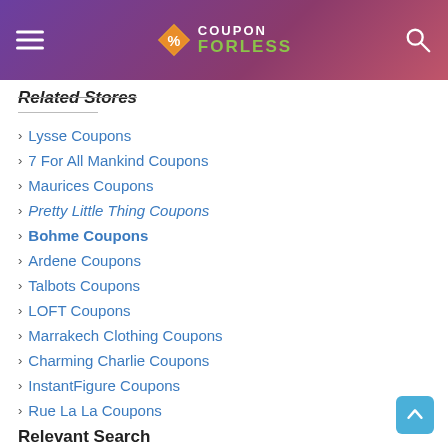[Figure (logo): CouponForLess website header with hamburger menu, diamond logo, COUPON FORLESS text, and search icon on purple-pink gradient background]
Related Stores
Lysse Coupons
7 For All Mankind Coupons
Maurices Coupons
Pretty Little Thing Coupons
Bohme Coupons
Ardene Coupons
Talbots Coupons
LOFT Coupons
Marrakech Clothing Coupons
Charming Charlie Coupons
InstantFigure Coupons
Rue La La Coupons
Relevant Search